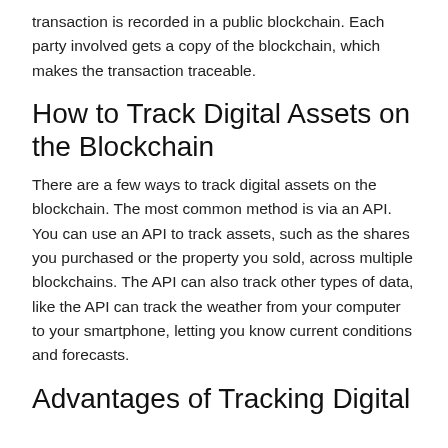transaction is recorded in a public blockchain. Each party involved gets a copy of the blockchain, which makes the transaction traceable.
How to Track Digital Assets on the Blockchain
There are a few ways to track digital assets on the blockchain. The most common method is via an API. You can use an API to track assets, such as the shares you purchased or the property you sold, across multiple blockchains. The API can also track other types of data, like the API can track the weather from your computer to your smartphone, letting you know current conditions and forecasts.
Advantages of Tracking Digital